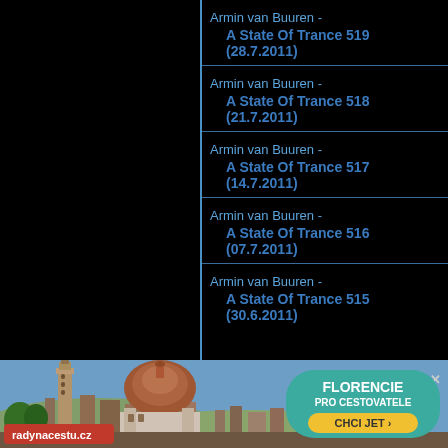Armin van Buuren - A State Of Trance 519 (28.7.2011)
Armin van Buuren - A State Of Trance 518 (21.7.2011)
Armin van Buuren - A State Of Trance 517 (14.7.2011)
Armin van Buuren - A State Of Trance 516 (07.7.2011)
Armin van Buuren - A State Of Trance 515 (30.6.2011)
[Figure (photo): Advertisement banner for radynacestu.cz featuring Florence cathedral skyline and FLORENCIE PRO CESTOVATELE promotional offer with CHCI JET button]